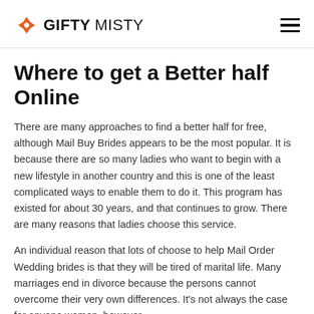GIFTY MISTY
Where to get a Better half Online
There are many approaches to find a better half for free, although Mail Buy Brides appears to be the most popular. It is because there are so many ladies who want to begin with a new lifestyle in another country and this is one of the least complicated ways to enable them to do it. This program has existed for about 30 years, and that continues to grow. There are many reasons that ladies choose this service.
An individual reason that lots of choose to help Mail Order Wedding brides is that they will be tired of marital life. Many marriages end in divorce because the persons cannot overcome their very own differences. It's not always the case for anyone women, however